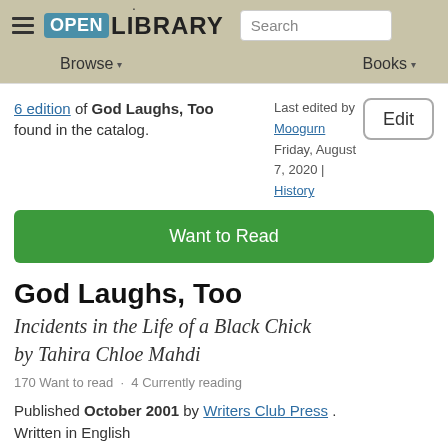Open Library — Browse | Books | Search
6 edition of God Laughs, Too found in the catalog. Last edited by Moogurn Friday, August 7, 2020 | History
Want to Read
God Laughs, Too
Incidents in the Life of a Black Chick
by Tahira Chloe Mahdi
170 Want to read · 4 Currently reading
Published October 2001 by Writers Club Press . Written in English
Subjects: